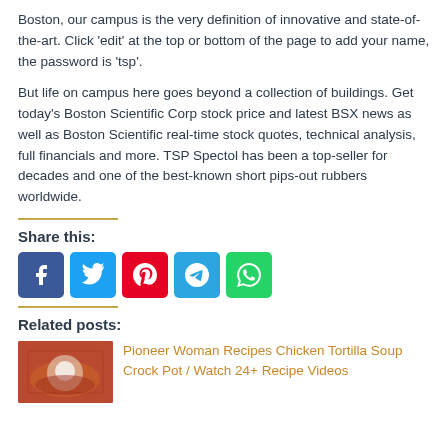Boston, our campus is the very definition of innovative and state-of-the-art. Click 'edit' at the top or bottom of the page to add your name, the password is 'tsp'.
But life on campus here goes beyond a collection of buildings. Get today's Boston Scientific Corp stock price and latest BSX news as well as Boston Scientific real-time stock quotes, technical analysis, full financials and more. TSP Spectol has been a top-seller for decades and one of the best-known short pips-out rubbers worldwide.
Share this:
[Figure (infographic): Social media sharing buttons: Facebook (blue), Twitter (light blue), Pinterest (red), Telegram (blue), WhatsApp (green)]
Related posts:
[Figure (photo): Thumbnail image of a chicken tortilla soup dish]
Pioneer Woman Recipes Chicken Tortilla Soup Crock Pot / Watch 24+ Recipe Videos